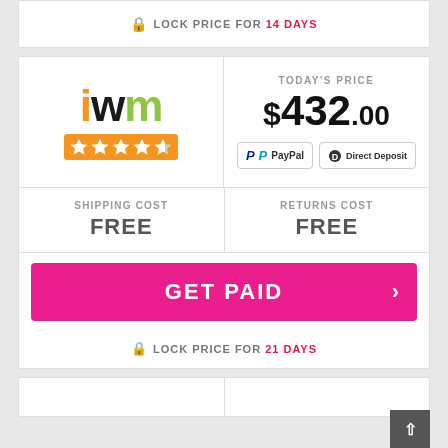LOCK PRICE FOR 14 DAYS
[Figure (logo): IWM logo with orange 'i', black 'w', green 'm' letters and orange star rating bar below with 4.5 stars]
TODAY'S PRICE $432.00
PayPal  Direct Deposit
SHIPPING COST FREE
RETURNS COST FREE
GET PAID
LOCK PRICE FOR 21 DAYS